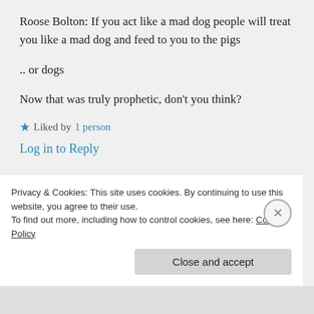Roose Bolton: If you act like a mad dog people will treat you like a mad dog and feed to you to the pigs
.. or dogs
Now that was truly prophetic, don't you think?
★ Liked by 1 person
Log in to Reply
Privacy & Cookies: This site uses cookies. By continuing to use this website, you agree to their use.
To find out more, including how to control cookies, see here: Cookie Policy
Close and accept